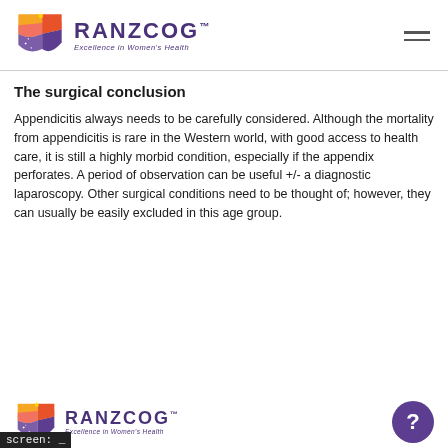RANZCOG™ Excellence in Women's Health
The surgical conclusion
Appendicitis always needs to be carefully considered. Although the mortality from appendicitis is rare in the Western world, with good access to health care, it is still a highly morbid condition, especially if the appendix perforates. A period of observation can be useful +/- a diagnostic laparoscopy. Other surgical conditions need to be thought of; however, they can usually be easily excluded in this age group.
RANZCOG™ Excellence in Women's Health